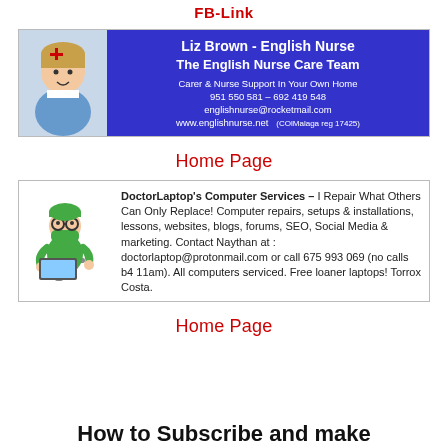FB-Link
[Figure (infographic): Advertisement for Liz Brown - English Nurse / The English Nurse Care Team with nurse photo and blue background banner]
Home Page
[Figure (infographic): Advertisement for DoctorLaptop's Computer Services with cartoon doctor illustration]
Home Page
How to Subscribe and make